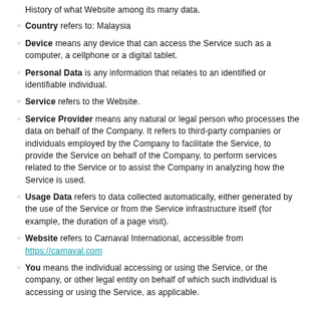Country refers to: Malaysia
Device means any device that can access the Service such as a computer, a cellphone or a digital tablet.
Personal Data is any information that relates to an identified or identifiable individual.
Service refers to the Website.
Service Provider means any natural or legal person who processes the data on behalf of the Company. It refers to third-party companies or individuals employed by the Company to facilitate the Service, to provide the Service on behalf of the Company, to perform services related to the Service or to assist the Company in analyzing how the Service is used.
Usage Data refers to data collected automatically, either generated by the use of the Service or from the Service infrastructure itself (for example, the duration of a page visit).
Website refers to Carnaval International, accessible from https://carnaval.com
You means the individual accessing or using the Service, or the company, or other legal entity on behalf of which such individual is accessing or using the Service, as applicable.